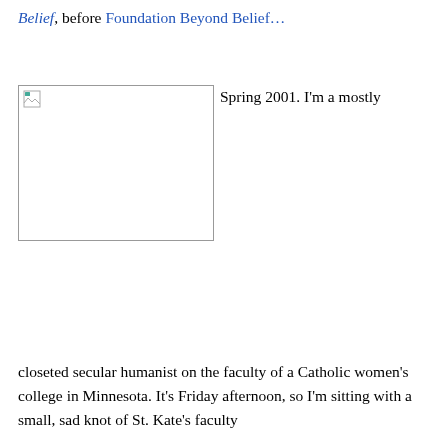Belief, before Foundation Beyond Belief…
[Figure (photo): Broken image placeholder (image failed to load), rectangular box with broken image icon in top-left corner]
Spring 2001. I'm a mostly
closeted secular humanist on the faculty of a Catholic women's college in Minnesota. It's Friday afternoon, so I'm sitting with a small, sad knot of St. Kate's faculty